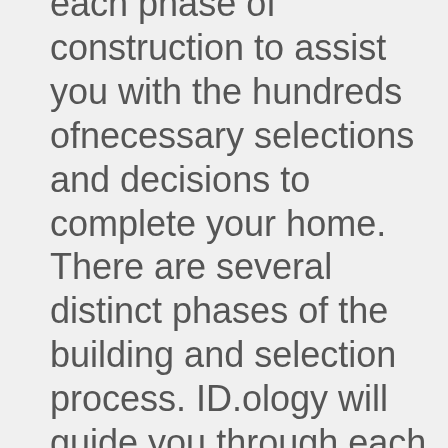each phase of construction to assist you with the hundreds ofnecessary selections and decisions to complete your home. There are several distinct phases of the building and selection process. ID.ology will guide you through each phase with care and consideration of your vision, budget, life and family. When interior and exterior selections and decisions are made, ID.ology governs the communication between all parties to ensure everything is ordered and implemented according to your full vision.

ID.ology will conduct and lead a